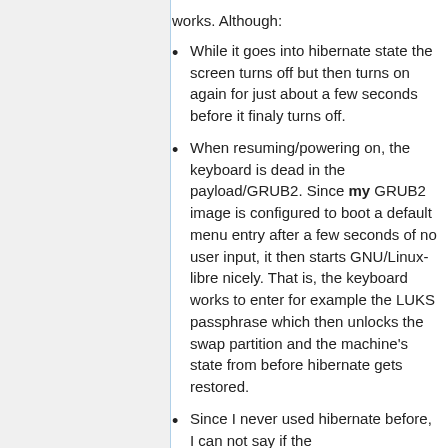works. Although:
While it goes into hibernate state the screen turns off but then turns on again for just about a few seconds before it finaly turns off.
When resuming/powering on, the keyboard is dead in the payload/GRUB2. Since my GRUB2 image is configured to boot a default menu entry after a few seconds of no user input, it then starts GNU/Linux-libre nicely. That is, the keyboard works to enter for example the LUKS passphrase which then unlocks the swap partition and the machine's state from before hibernate gets restored.
Since I never used hibernate before, I can not say if the